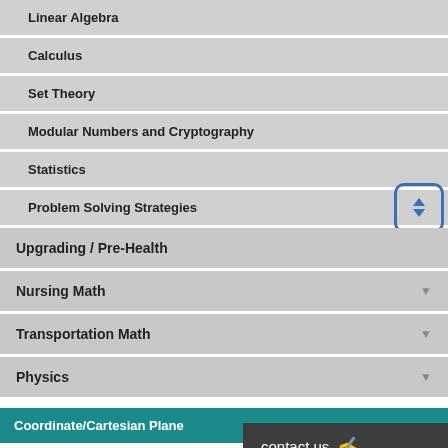Linear Algebra
Calculus
Set Theory
Modular Numbers and Cryptography
Statistics
Problem Solving Strategies
Upgrading / Pre-Health
Nursing Math
Transportation Math
Physics
Coordinate/Cartesian Plane
Most of the two dimensional graphing...